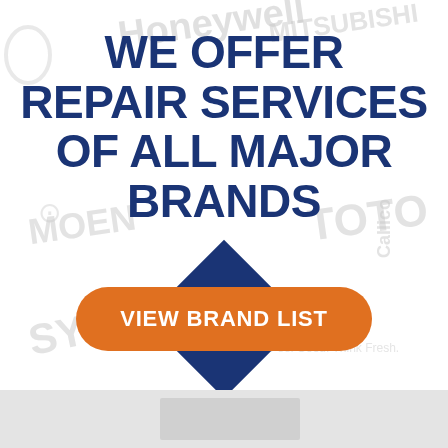WE OFFER REPAIR SERVICES OF ALL MAJOR BRANDS
[Figure (infographic): Orange rounded rectangle button labeled VIEW BRAND LIST with a dark navy blue diamond shape behind it, overlapping the button vertically]
VIEW BRAND LIST